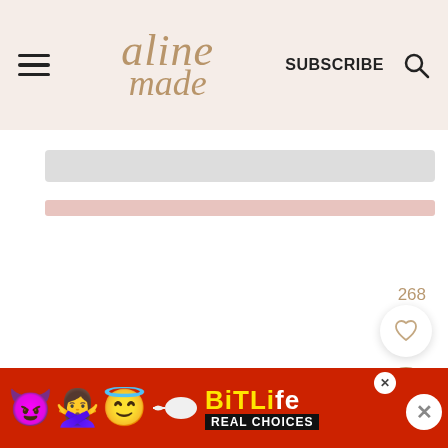aline made | SUBSCRIBE
[Figure (screenshot): Website content area with a light gray input bar and a pink/rose colored bar below it on a white background]
268
[Figure (other): Heart/like button (white circle with heart icon) and search button (tan/gold circle with magnifying glass icon) floating on right side]
[Figure (other): BitLife advertisement banner on red background with devil emoji, person emoji, angel emoji, sperm emoji, BitLife logo in yellow, REAL CHOICES text, and an X close button]